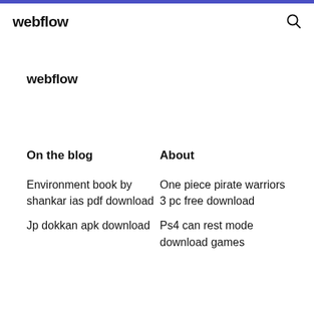webflow
webflow
On the blog
About
Environment book by shankar ias pdf download
One piece pirate warriors 3 pc free download
Jp dokkan apk download
Ps4 can rest mode download games